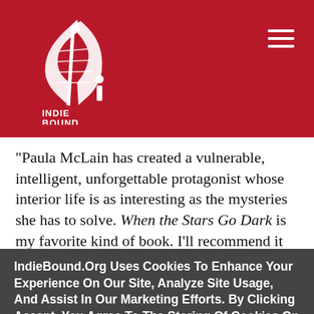[Figure (logo): IndieBound logo: white feather/quill illustration with INDIEBOUND text below, on red background]
“Paula McLain has created a vulnerable, intelligent, unforgettable protagonist whose interior life is as interesting as the mysteries she has to solve. When the Stars Go Dark is my favorite kind of book. I’ll recommend it far and wide.”—Liz Moore, author of Long Bright River
IndieBound.Org Uses Cookies To Enhance Your Experience On Our Site, Analyze Site Usage, And Assist In Our Marketing Efforts. By Clicking Accept, You Agree To The Storing Of Cookies On Your Device. View Our Cookie Policy.
Give me more info
Accept all Cookies